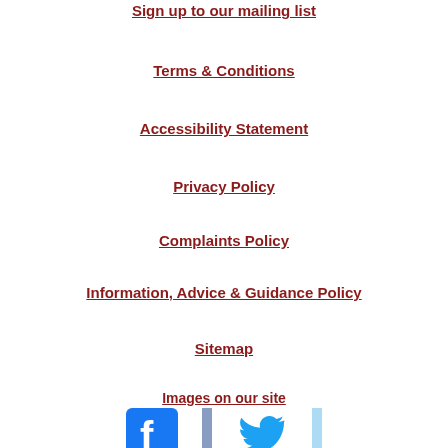Sign up to our mailing list
Terms & Conditions
Accessibility Statement
Privacy Policy
Complaints Policy
Information, Advice & Guidance Policy
Sitemap
Images on our site
[Figure (logo): Facebook and Twitter social media icons]